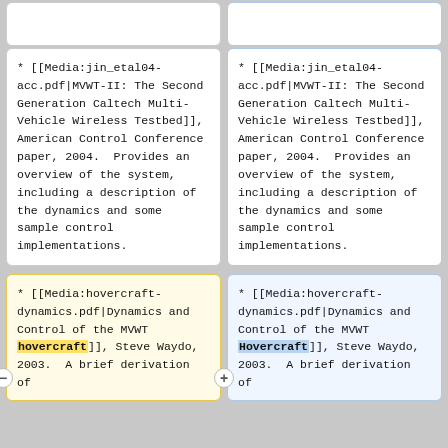* [[Media:jin_etal04-acc.pdf|MVWT-II: The Second Generation Caltech Multi-Vehicle Wireless Testbed]], American Control Conference paper, 2004.  Provides an overview of the system, including a description of the dynamics and some sample control implementations.
* [[Media:jin_etal04-acc.pdf|MVWT-II: The Second Generation Caltech Multi-Vehicle Wireless Testbed]], American Control Conference paper, 2004.  Provides an overview of the system, including a description of the dynamics and some sample control implementations.
* [[Media:hovercraft-dynamics.pdf|Dynamics and Control of the MVWT hovercraft]], Steve Waydo, 2003.  A brief derivation of
* [[Media:hovercraft-dynamics.pdf|Dynamics and Control of the MVWT Hovercraft]], Steve Waydo, 2003.  A brief derivation of